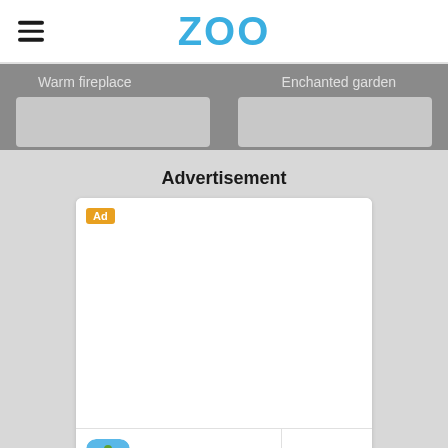ZOO
Warm fireplace
Enchanted garden
Advertisement
[Figure (screenshot): Advertisement box with 'Ad' badge, blank white space, and Rush Royale game ad at the bottom with PLAY NOW button]